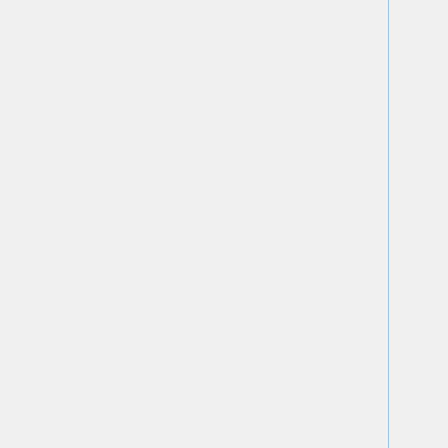| Name | Operating System |
| --- | --- |
| Study | (Windows, Mac, Linux,… |
| BibleDesktop (JSword) | Any system with Java… (Windows, Mac, Linux,… |
| BibleTime (see also Kio-Sword) | Linux |
| BPBible (wxPython) | Windows, Linux |
| FireBible (JSword/FireFox) | Firefox web browser in… Windows, Mac, Linux |
| MacSword | version 1.3.x Mac OSX 10.3+, version 1.4.x Mac OSX 10.4+ |
| The SWORD Project for Windows | Windows (95/98/NT4/2000/XP/V… |